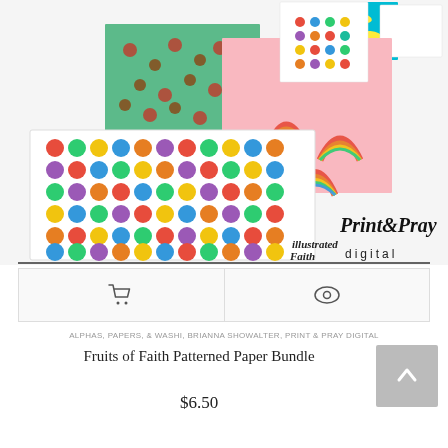[Figure (illustration): Product preview image showing multiple patterned paper sheets: colorful polka dots, rainbows on pink, strawberries on mint green, colorful dots on white, and bananas on teal. Large foreground sheet shows multicolored large polka dots. Brand logos 'Illustrated Faith' and 'Print & Pray digital' visible at bottom right.]
| cart icon | eye/preview icon |
ALPHAS, PAPERS, & WASHI, BRIANNA SHOWALTER, PRINT & PRAY DIGITAL
Fruits of Faith Patterned Paper Bundle
$6.50